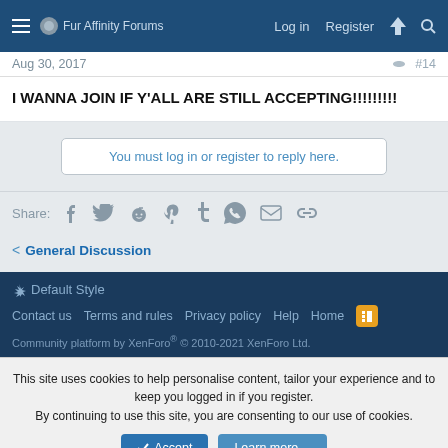Fur Affinity Forums — Log in  Register
Aug 30, 2017  #14
I WANNA JOIN IF Y'ALL ARE STILL ACCEPTING!!!!!!!!!
You must log in or register to reply here.
Share:
General Discussion
Default Style  Contact us  Terms and rules  Privacy policy  Help  Home  Community platform by XenForo® © 2010-2021 XenForo Ltd.
This site uses cookies to help personalise content, tailor your experience and to keep you logged in if you register. By continuing to use this site, you are consenting to our use of cookies.